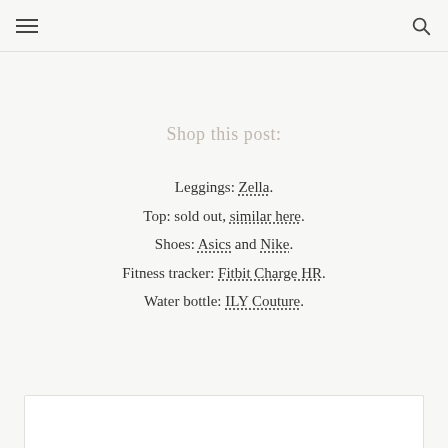navigation header with hamburger menu and search icon
Shop this post:
Leggings: Zella.
Top: sold out, similar here.
Shoes: Asics and Nike.
Fitness tracker: Fitbit Charge HR.
Water bottle: ILY Couture.